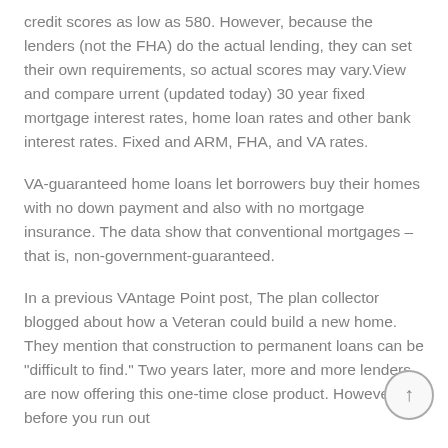credit scores as low as 580. However, because the lenders (not the FHA) do the actual lending, they can set their own requirements, so actual scores may vary.View and compare urrent (updated today) 30 year fixed mortgage interest rates, home loan rates and other bank interest rates. Fixed and ARM, FHA, and VA rates.
VA-guaranteed home loans let borrowers buy their homes with no down payment and also with no mortgage insurance. The data show that conventional mortgages – that is, non-government-guaranteed.
In a previous VAntage Point post, The plan collector blogged about how a Veteran could build a new home. They mention that construction to permanent loans can be "difficult to find." Two years later, more and more lenders are now offering this one-time close product. However, before you run out...